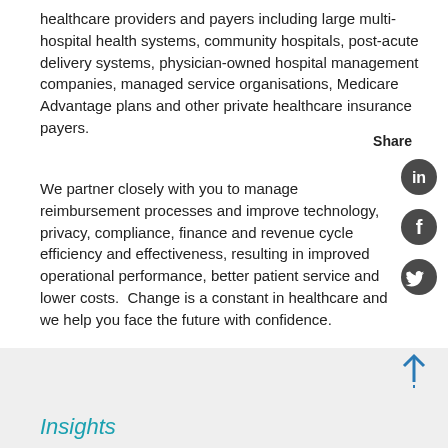healthcare providers and payers including large multi-hospital health systems, community hospitals, post-acute delivery systems, physician-owned hospital management companies, managed service organisations, Medicare Advantage plans and other private healthcare insurance payers.
Share
We partner closely with you to manage reimbursement processes and improve technology, privacy, compliance, finance and revenue cycle efficiency and effectiveness, resulting in improved operational performance, better patient service and lower costs.  Change is a constant in healthcare and we help you face the future with confidence.
[Figure (other): Social media share icons: LinkedIn, Facebook, Twitter]
Insights